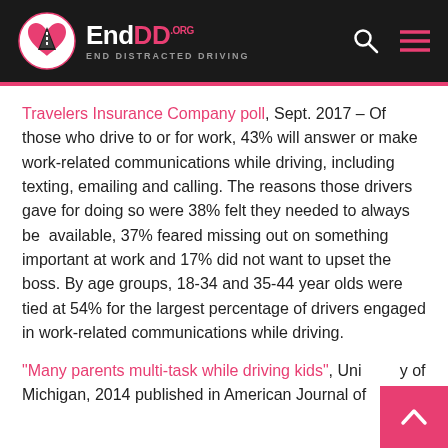EndDD.org – End Distracted Driving
Travelers Insurance Company poll, Sept. 2017 – Of those who drive to or for work, 43% will answer or make work-related communications while driving, including texting, emailing and calling. The reasons those drivers gave for doing so were 38% felt they needed to always be available, 37% feared missing out on something important at work and 17% did not want to upset the boss. By age groups, 18-34 and 35-44 year olds were tied at 54% for the largest percentage of drivers engaged in work-related communications while driving.
"Many parents multi-task while driving kids", University of Michigan, 2014 published in American Journal of